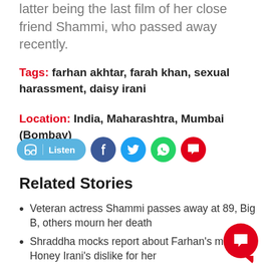latter being the last film of her close friend Shammi, who passed away recently.
Tags: farhan akhtar, farah khan, sexual harassment, daisy irani
Location: India, Maharashtra, Mumbai (Bombay)
[Figure (infographic): Social sharing bar with Listen button, Facebook, Twitter, WhatsApp, and comment icons]
Related Stories
Veteran actress Shammi passes away at 89, Big B, others mourn her death
Shraddha mocks report about Farhan's mother Honey Irani's dislike for her